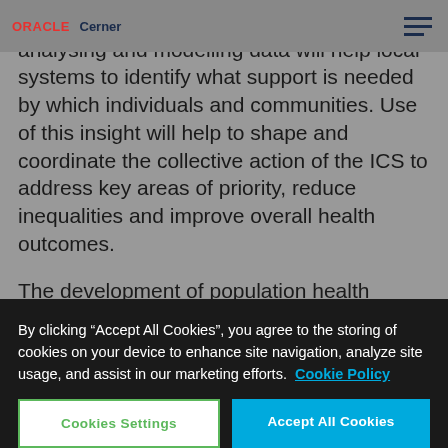ORACLE Cerner
impact and shape outcomes. Capturing, analysing and modelling data will help local systems to identify what support is needed by which individuals and communities. Use of this insight will help to shape and coordinate the collective action of the ICS to address key areas of priority, reduce inequalities and improve overall health outcomes.
The development of population health management (PHM) will require new
By clicking “Accept All Cookies”, you agree to the storing of cookies on your device to enhance site navigation, analyze site usage, and assist in our marketing efforts. Cookie Policy
Cookies Settings
Accept All Cookies